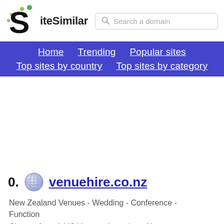SiteSimilar
Search a domain
Home  Trending  Popular sites  Top sites by country  Top sites by category
10. venuehire.co.nz
New Zealand Venues - Wedding - Conference - Function
Choose from 1442 Venues throughout New